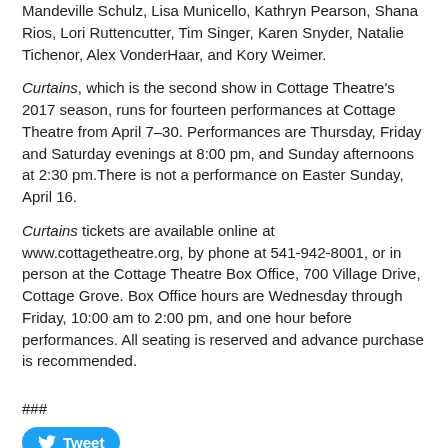Mandeville Schulz, Lisa Municello, Kathryn Pearson, Shana Rios, Lori Ruttencutter, Tim Singer, Karen Snyder, Natalie Tichenor, Alex VonderHaar, and Kory Weimer.
Curtains, which is the second show in Cottage Theatre's 2017 season, runs for fourteen performances at Cottage Theatre from April 7–30. Performances are Thursday, Friday and Saturday evenings at 8:00 pm, and Sunday afternoons at 2:30 pm.There is not a performance on Easter Sunday, April 16.
Curtains tickets are available online at www.cottagetheatre.org, by phone at 541-942-8001, or in person at the Cottage Theatre Box Office, 700 Village Drive, Cottage Grove. Box Office hours are Wednesday through Friday, 10:00 am to 2:00 pm, and one hour before performances. All seating is reserved and advance purchase is recommended.
###